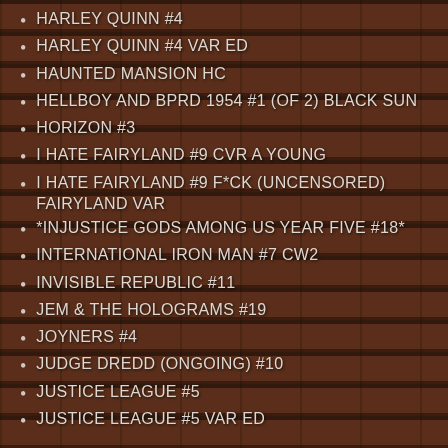HARLEY QUINN #4
HARLEY QUINN #4 VAR ED
HAUNTED MANSION HC
HELLBOY AND BPRD 1954 #1 (OF 2) BLACK SUN
HORIZON #3
I HATE FAIRYLAND #9 CVR A YOUNG
I HATE FAIRYLAND #9 F*CK (UNCENSORED) FAIRYLAND VAR
*INJUSTICE GODS AMONG US YEAR FIVE #18*
INTERNATIONAL IRON MAN #7 CW2
INVISIBLE REPUBLIC #11
JEM & THE HOLOGRAMS #19
JOYNERS #4
JUDGE DREDD (ONGOING) #10
JUSTICE LEAGUE #5
JUSTICE LEAGUE #5 VAR ED